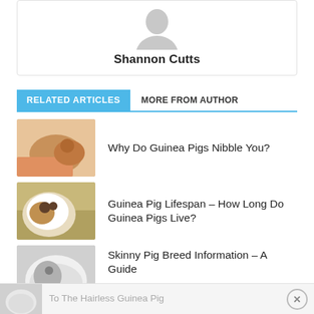[Figure (illustration): Author avatar placeholder (grey silhouette icon) with name 'Shannon Cutts' below]
Shannon Cutts
RELATED ARTICLES
MORE FROM AUTHOR
[Figure (photo): Hands holding a guinea pig, nibbling]
Why Do Guinea Pigs Nibble You?
[Figure (photo): Close-up of a guinea pig face]
Guinea Pig Lifespan – How Long Do Guinea Pigs Live?
[Figure (photo): Hairless guinea pig (skinny pig)]
Skinny Pig Breed Information – A Guide
To The Hairless Guinea Pig